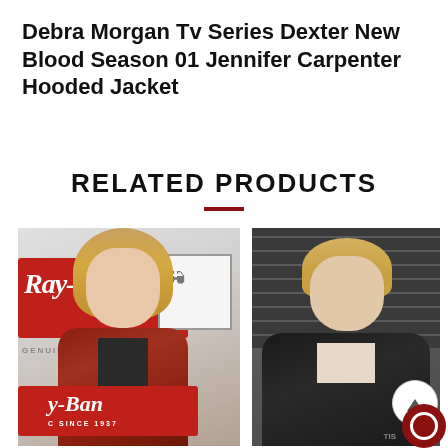Debra Morgan Tv Series Dexter New Blood Season 01 Jennifer Carpenter Hooded Jacket
RELATED PRODUCTS
[Figure (photo): Young blonde woman wearing a red/rust leather jacket over a black shirt, standing in front of Ray-Ban signage/display]
[Figure (photo): Blonde woman wearing a black leather jacket over a light shirt, standing in front of dark metal shutters]